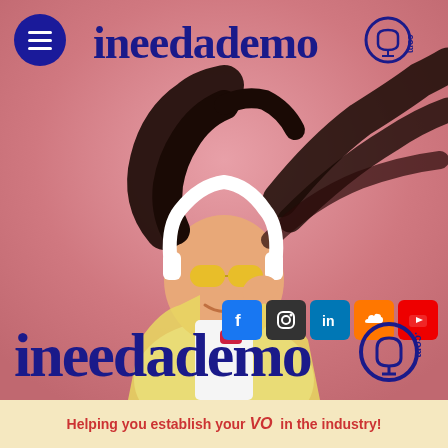[Figure (logo): ineedademo.com logo in dark navy blue with headphone/mic icon, positioned at top center of page]
[Figure (photo): Young woman with long dark hair flying, wearing yellow sunglasses and white headphones, smiling, on pink/salmon background]
[Figure (infographic): Social media icons row: Facebook (blue), Instagram (dark), LinkedIn (blue), SoundCloud (orange), YouTube (red)]
[Figure (logo): Large ineedademo.com logo in dark navy blue at bottom of photo area]
Helping you establish your VO in the industry!